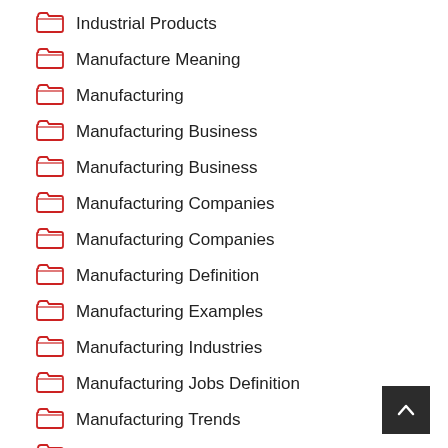Industrial Products
Manufacture Meaning
Manufacturing
Manufacturing Business
Manufacturing Business
Manufacturing Companies
Manufacturing Companies
Manufacturing Definition
Manufacturing Examples
Manufacturing Industries
Manufacturing Jobs Definition
Manufacturing Trends
Product Manufacturing
Product Manufacturing Company